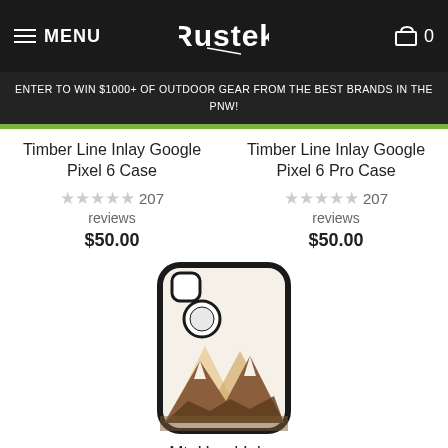MENU | Rustek | 0
ENTER TO WIN $1000+ OF OUTDOOR GEAR FROM THE BEST BRANDS IN THE PNW!
Timber Line Inlay Google Pixel 6 Case
★★★★★ 207 reviews
$50.00
Timber Line Inlay Google Pixel 6 Pro Case
★★★★★ 207 reviews
$50.00
[Figure (photo): Phone case with mountain inlay wood design - Mt. Hood Inlay]
Mt. Hood Inlay